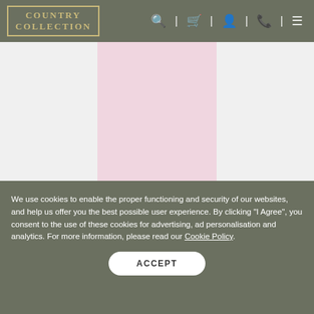COUNTRY COLLECTION
[Figure (photo): A light pink garment (skirt or dress) shown against a light grey/white background, product image from Country Collection website.]
We use cookies to enable the proper functioning and security of our websites, and help us offer you the best possible user experience. By clicking "I Agree", you consent to the use of these cookies for advertising, ad personalisation and analytics. For more information, please read our Cookie Policy.
ACCEPT